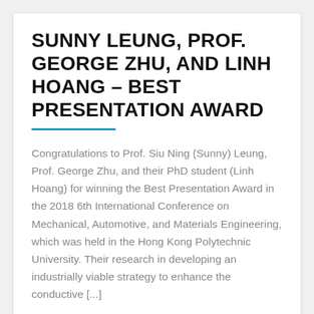SUNNY LEUNG, PROF. GEORGE ZHU, AND LINH HOANG – BEST PRESENTATION AWARD
Congratulations to Prof. Siu Ning (Sunny) Leung, Prof. George Zhu, and their PhD student (Linh Hoang) for winning the Best Presentation Award in the 2018 6th International Conference on Mechanical, Automotive, and Materials Engineering, which was held in the Hong Kong Polytechnic University. Their research in developing an industrially viable strategy to enhance the conductive [...]
[Figure (photo): Partially visible image at bottom of page showing a blue left section and a gear/cog graphic on a light gray background]